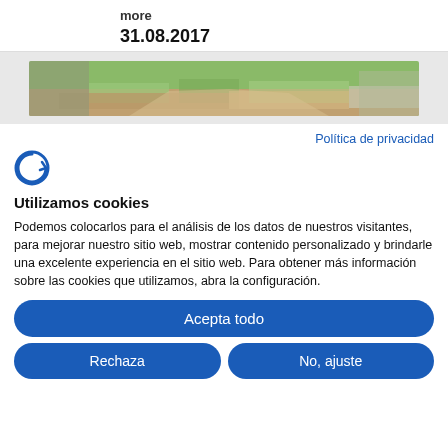more
31.08.2017
[Figure (photo): Landscape photo strip showing rocky terrain with green vegetation and a dirt path]
Política de privacidad
[Figure (logo): Cookiebot logo — stylized letter C with arrow]
Utilizamos cookies
Podemos colocarlos para el análisis de los datos de nuestros visitantes, para mejorar nuestro sitio web, mostrar contenido personalizado y brindarle una excelente experiencia en el sitio web. Para obtener más información sobre las cookies que utilizamos, abra la configuración.
Acepta todo
Rechaza
No, ajuste